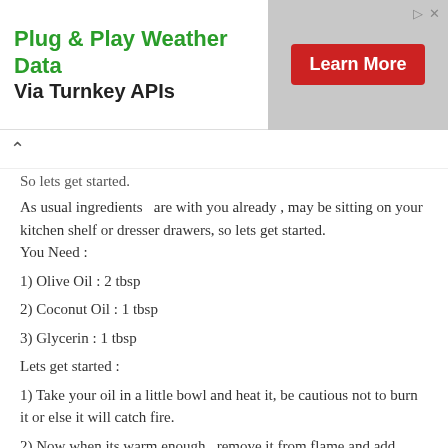[Figure (screenshot): Advertisement banner: 'Plug & Play Weather Data Via Turnkey APIs' with a Learn More button on a grey background]
So lets get started.
As usual ingredients  are with you already , may be sitting on your kitchen shelf or dresser drawers, so lets get started.
You Need :
1) Olive Oil : 2 tbsp
2) Coconut Oil : 1 tbsp
3) Glycerin : 1 tbsp
Lets get started :
1) Take your oil in a little bowl and heat it, be cautious not to burn it or else it will catch fire.
2) Now when its warm enough , remove it from flame and add coconut oil.